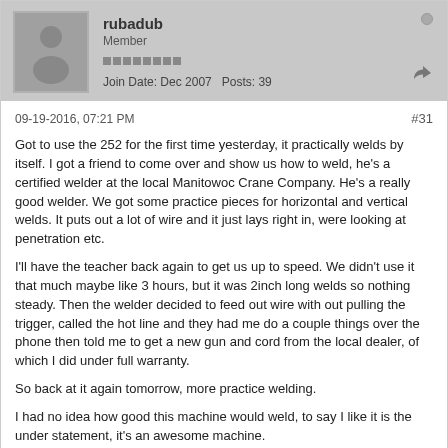rubadub | Member | Join Date: Dec 2007 | Posts: 39
09-19-2016, 07:21 PM
#31
Got to use the 252 for the first time yesterday, it practically welds by itself. I got a friend to come over and show us how to weld, he's a certified welder at the local Manitowoc Crane Company. He's a really good welder. We got some practice pieces for horizontal and vertical welds. It puts out a lot of wire and it just lays right in, were looking at penetration etc.
I'll have the teacher back again to get us up to speed. We didn't use it that much maybe like 3 hours, but it was 2inch long welds so nothing steady. Then the welder decided to feed out wire with out pulling the trigger, called the hot line and they had me do a couple things over the phone then told me to get a new gun and cord from the local dealer, of which I did under full warranty.
So back at it again tomorrow, more practice welding.
I had no idea how good this machine would weld, to say I like it is the under statement, it's an awesome machine.
Thanks again men for helping me out.